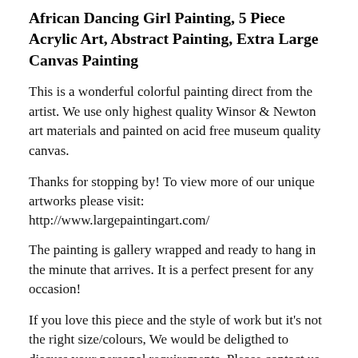African Dancing Girl Painting, 5 Piece Acrylic Art, Abstract Painting, Extra Large Canvas Painting
This is a wonderful colorful painting direct from the artist. We use only highest quality Winsor & Newton art materials and painted on acid free museum quality canvas.
Thanks for stopping by! To view more of our unique artworks please visit:
http://www.largepaintingart.com/
The painting is gallery wrapped and ready to hang in the minute that arrives. It is a perfect present for any occasion!
If you love this piece and the style of work but it's not the right size/colours, We would be deligthed to discuss your personal requirements. Please contact us for information